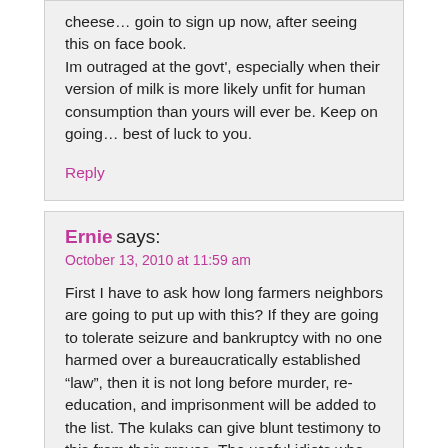cheese… goin to sign up now, after seeing this on face book.
Im outraged at the govt', especially when their version of milk is more likely unfit for human consumption than yours will ever be. Keep on going… best of luck to you.
Reply
Ernie says:
October 13, 2010 at 11:59 am
First I have to ask how long farmers neighbors are going to put up with this? If they are going to tolerate seizure and bankruptcy with no one harmed over a bureaucratically established “law”, then it is not long before murder, re-education, and imprisonment will be added to the list. The kulaks can give blunt testimony to this from their graves. The useful idiots who are defending this